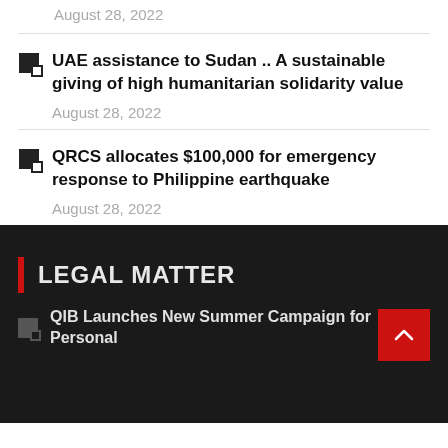August 28, 2022
UAE assistance to Sudan .. A sustainable giving of high humanitarian solidarity value
August 28, 2022
QRCS allocates $100,000 for emergency response to Philippine earthquake
August 28, 2022
LEGAL MATTER
QIB Launches New Summer Campaign for Personal